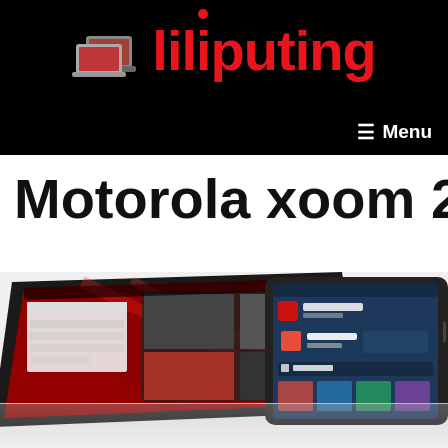Liliputing — Menu
Motorola xoom 2
[Figure (photo): Two Motorola Xoom 2 tablets shown side by side. The left tablet is shown at an angle with a red and black interface on screen. The right tablet is upright showing a music/albums app interface with a blue tinted screen.]